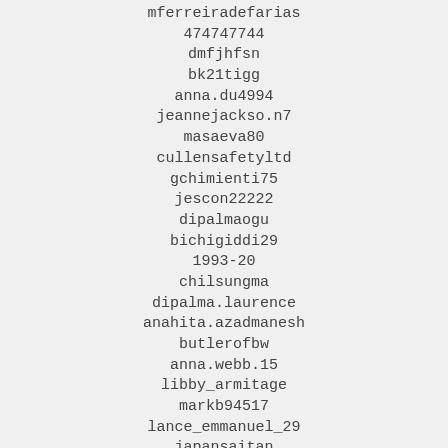mferreiradefarias
474747744
dmfjhfsn
bk21tigg
anna.du4994
jeannejackso.n7
masaeva80
cullensafetyltd
gchimienti75
jescon22222
dipalmaogu
bichigiddi29
1993-20
chilsungma
dipalma.laurence
anahita.azadmanesh
butlerofbw
anna.webb.15
libby_armitage
markb94517
lance_emmanuel_29
japansaitan
jusseff01
d563207